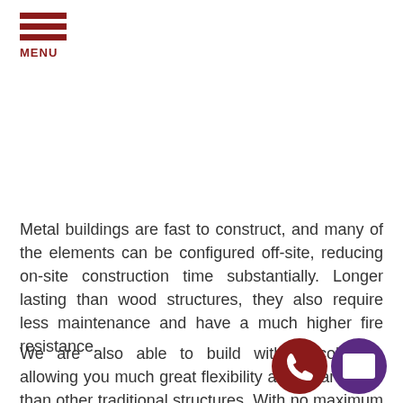MENU
Metal buildings are fast to construct, and many of the elements can be configured off-site, reducing on-site construction time substantially. Longer lasting than wood structures, they also require less maintenance and have a much higher fire resistance.
We are also able to build without columns, allowing you much great flexibility and clear space than other traditional structures. With no maximum size on our buildings, we can accommodate any occupant or purpose. This wider interior space makes it easy to store large machinery